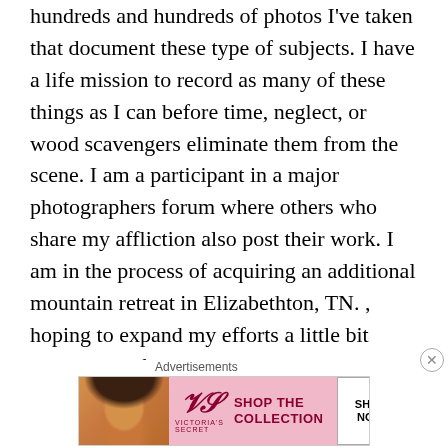hundreds and hundreds of photos I've taken that document these type of subjects. I have a life mission to record as many of these things as I can before time, neglect, or wood scavengers eliminate them from the scene. I am a participant in a major photographers forum where others who share my affliction also post their work. I am in the process of acquiring an additional mountain retreat in Elizabethton, TN. , hoping to expand my efforts a little bit northward. If anyone wants to check out the forum, please email me at my listed email address and I'll give you the info on how to access our group. Actually, the sub-forum I'm active in is but a small section of the overall forum. Photographers of every discipline also participate. As we say to each other " Good luck and good shooting "
Advertisements
[Figure (other): Victoria's Secret advertisement banner with a woman's photo on the left, VS logo in the middle, 'SHOP THE COLLECTION' text, and a 'SHOP NOW' button on the right. Pink background.]